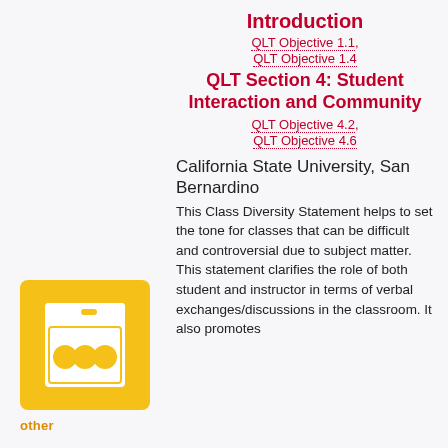Introduction
QLT Objective 1.1, QLT Objective 1.4
QLT Section 4: Student Interaction and Community
QLT Objective 4.2, QLT Objective 4.6
[Figure (illustration): Yellow square icon with a white oven/stove appliance illustration, labeled 'other' below]
California State University, San Bernardino
This Class Diversity Statement helps to set the tone for classes that can be difficult and controversial due to subject matter. This statement clarifies the role of both student and instructor in terms of verbal exchanges/discussions in the classroom. It also promotes